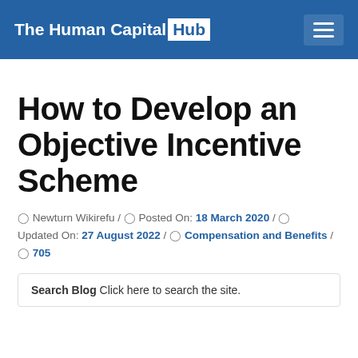The Human Capital Hub
How to Develop an Objective Incentive Scheme
Newturn Wikirefu / Posted On: 18 March 2020 / Updated On: 27 August 2022 / Compensation and Benefits / 705
Search Blog Click here to search the site.